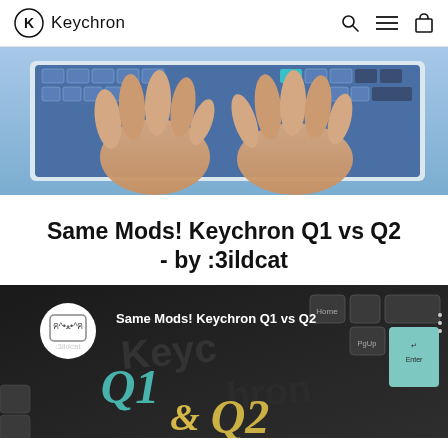Keychron
[Figure (photo): Overhead view of two hands typing on a blue mechanical keyboard against a light background]
Same Mods! Keychron Q1 vs Q2 - by :3ildcat
[Figure (screenshot): YouTube video thumbnail showing Keychron Q1 vs Q2 comparison by :3ildcat channel, with keyboard keys visible and stylized Q1 & Q2 text overlay]